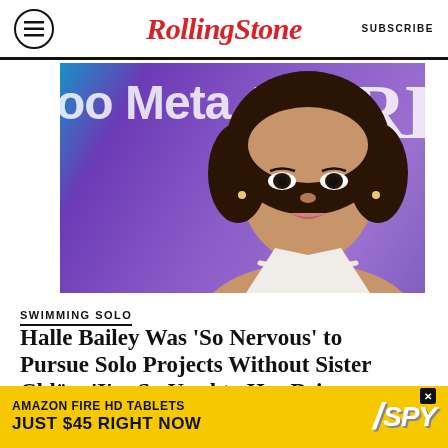Rolling Stone | SUBSCRIBE
[Figure (photo): Halle Bailey posing at a Variety/Meta event, wearing a white halter top and pearl necklaces, in front of a purple branded backdrop]
SWIMMING SOLO
Halle Bailey Was ‘So Nervous’ to Pursue Solo Projects Without Sister Chlöe: ‘I’m So Used to Her Being There’
BY TOMÁS MIER
[Figure (other): Amazon Fire HD Tablets advertisement: AMAZON FIRE HD TABLETS JUST $45 RIGHT NOW / SPY]